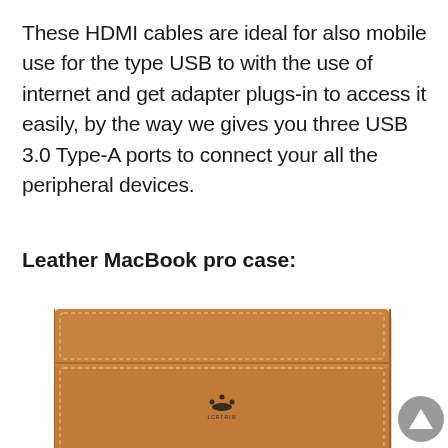These HDMI cables are ideal for also mobile use for the type USB to with the use of internet and get adapter plugs-in to access it easily, by the way we gives you three USB 3.0 Type-A ports to connect your all the peripheral devices.
Leather MacBook pro case:
[Figure (photo): A tan/cognac brown leather MacBook sleeve/case with stitched edges and a magnetic flap closure. A small logo (LCRTRIM) is embossed on the front center.]